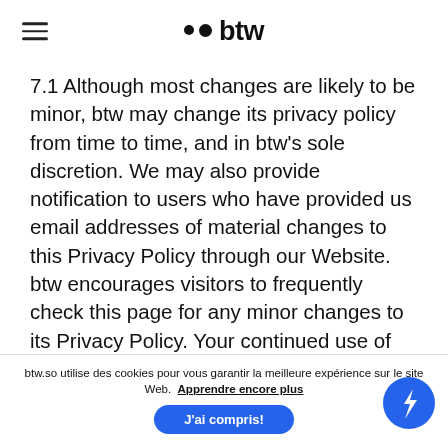btw (logo with hamburger menu)
7.1 Although most changes are likely to be minor, btw may change its privacy policy from time to time, and in btw's sole discretion. We may also provide notification to users who have provided us email addresses of material changes to this Privacy Policy through our Website. btw encourages visitors to frequently check this page for any minor changes to its Privacy Policy. Your continued use of this site after any change in this Privacy Policy will
btw.so utilise des cookies pour vous garantir la meilleure expérience sur le site Web. Apprendre encore plus
J'ai compris!